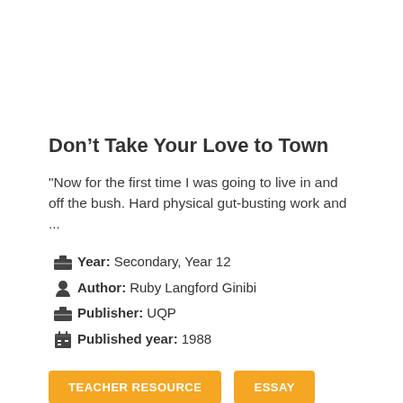Don’t Take Your Love to Town
"Now for the first time I was going to live in and off the bush. Hard physical gut-busting work and ...
Year: Secondary, Year 12
Author: Ruby Langford Ginibi
Publisher: UQP
Published year: 1988
TEACHER RESOURCE  ESSAY